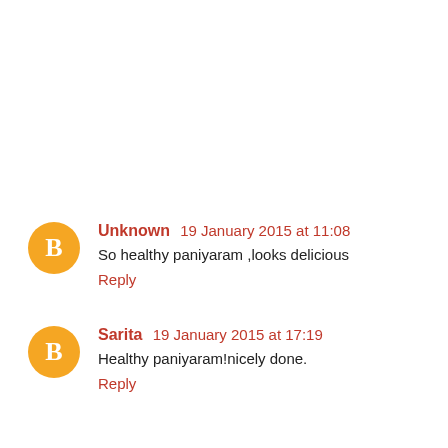Unknown 19 January 2015 at 11:08
So healthy paniyaram ,looks delicious
Reply
Sarita 19 January 2015 at 17:19
Healthy paniyaram!nicely done.
Reply